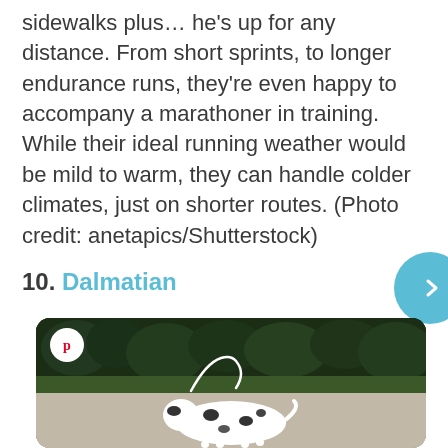sidewalks plus... he's up for any distance. From short sprints, to longer endurance runs, they're even happy to accompany a marathoner in training. While their ideal running weather would be mild to warm, they can handle colder climates, just on shorter routes. (Photo credit: anetapics/Shutterstock)
10. Dalmatian
[Figure (photo): Photo of a Dalmatian dog running outdoors with green grass and dark trees in background. A Pinterest share button is visible in the top-left corner of the image.]